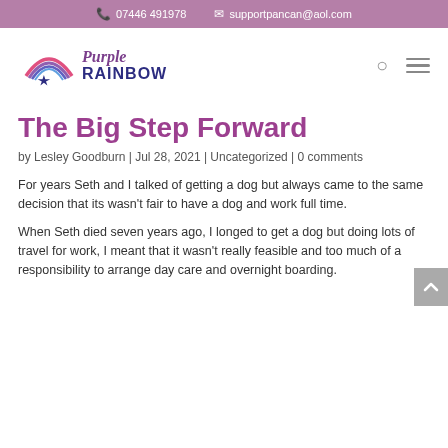07446 491978   supportpancan@aol.com
[Figure (logo): Purple Rainbow logo with rainbow arc and star icon, with text 'Purple RAINBOW']
The Big Step Forward
by Lesley Goodburn | Jul 28, 2021 | Uncategorized | 0 comments
For years Seth and I talked of getting a dog but always came to the same decision that its wasn't fair to have a dog and work full time.
When Seth died seven years ago, I longed to get a dog but doing lots of travel for work, I meant that it wasn't really feasible and too much of a responsibility to arrange day care and overnight boarding.